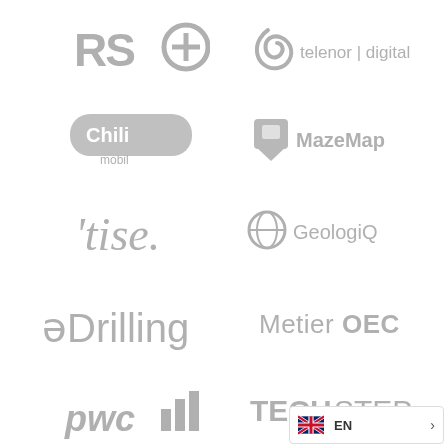[Figure (logo): RS Components (RS+) logo in gray]
[Figure (logo): Telenor Digital logo in gray]
[Figure (logo): Chili Mobil logo in gray]
[Figure (logo): MazeMap logo in gray]
[Figure (logo): Tise logo in gray italic script]
[Figure (logo): GeologiQ logo in gray]
[Figure (logo): eDrilling logo in gray]
[Figure (logo): Metier OEC logo in gray]
[Figure (logo): PwC logo in gray]
[Figure (logo): TECHSTEP logo in gray]
EN